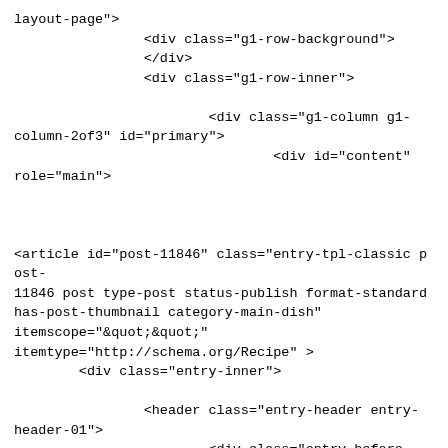layout-page">
                <div class="g1-row-background">
                </div>
                <div class="g1-row-inner">

                        <div class="g1-column g1-column-2of3" id="primary">
                                <div id="content" role="main">



<article id="post-11846" class="entry-tpl-classic post-11846 post type-post status-publish format-standard has-post-thumbnail category-main-dish" itemscope="&quot;&quot;" itemtype="http://schema.org/Recipe" >
        <div class="entry-inner">

                <header class="entry-header entry-header-01">
                        <div class="entry-before-title">
                                <span class="entry-categories entry-categories-1"><span class="entry-categories-inner"><span class="entry-categories-label">in</span> <a href="https://www.oneingredientchef.com/category/main-dish/" class="entry-category entry-category-item-6"><span itemprop="articleSection">Main Dish</span></a>